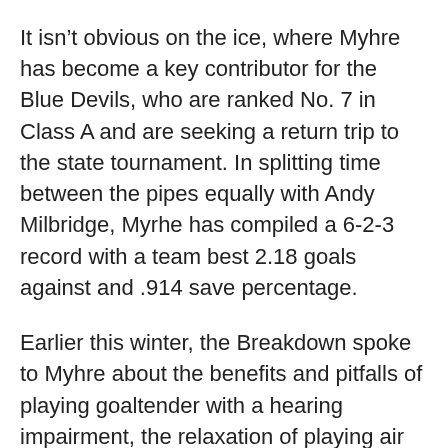It isn't obvious on the ice, where Myhre has become a key contributor for the Blue Devils, who are ranked No. 7 in Class A and are seeking a return trip to the state tournament. In splitting time between the pipes equally with Andy Milbridge, Myrhe has compiled a 6-2-3 record with a team best 2.18 goals against and .914 save percentage.
Earlier this winter, the Breakdown spoke to Myhre about the benefits and pitfalls of playing goaltender with a hearing impairment, the relaxation of playing air guitar and the Blue Devils' hopes in the upcoming Section 7A playoffs.
Breakdown: You have a hearing impairment. Can